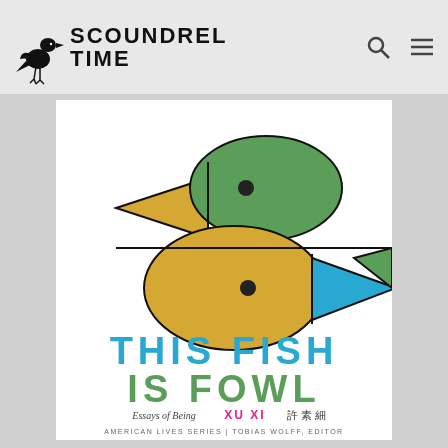SCOUNDREL TIME
[Figure (illustration): Book cover for 'This Fish is Fowl' by Xu Xi. Features a geometric illustration of two abstract fish/bird figures made from overlapping circles, triangles, and ellipses in yellow/gold, green, and blue on a white background. Top figure: yellow triangle beak pointing left, black dividing line, green ellipse body with black dot eye. Bottom figure: yellow ellipse body with black dot eye, blue triangle tail pointing right, green triangle fin pointing right. Text: THIS FISH / IS FOWL (large). Essays of Being XU XI 許素細. AMERICAN LIVES SERIES | TOBIAS WOLFF, EDITOR.]